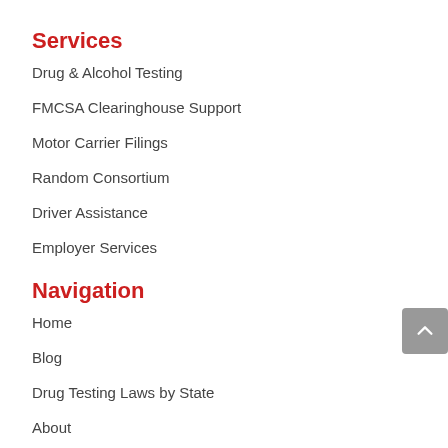Services
Drug & Alcohol Testing
FMCSA Clearinghouse Support
Motor Carrier Filings
Random Consortium
Driver Assistance
Employer Services
Navigation
Home
Blog
Drug Testing Laws by State
About
Contact